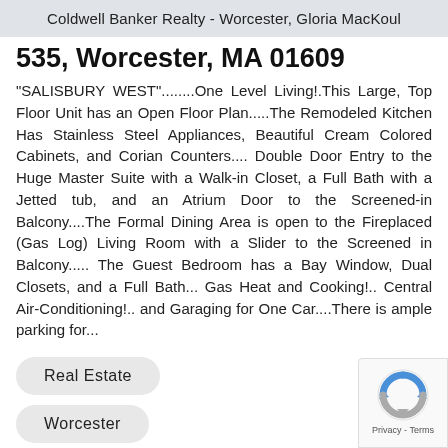Coldwell Banker Realty - Worcester, Gloria MacKoul
535, Worcester, MA 01609
"SALISBURY WEST"........One Level Living!.This Large, Top Floor Unit has an Open Floor Plan.....The Remodeled Kitchen Has Stainless Steel Appliances, Beautiful Cream Colored Cabinets, and Corian Counters.... Double Door Entry to the Huge Master Suite with a Walk-in Closet, a Full Bath with a Jetted tub, and an Atrium Door to the Screened-in Balcony....The Formal Dining Area is open to the Fireplaced (Gas Log) Living Room with a Slider to the Screened in Balcony..... The Guest Bedroom has a Bay Window, Dual Closets, and a Full Bath... Gas Heat and Cooking!.. Central Air-Conditioning!.. and Garaging for One Car....There is ample parking for...
Real Estate
Worcester
+ 2 more